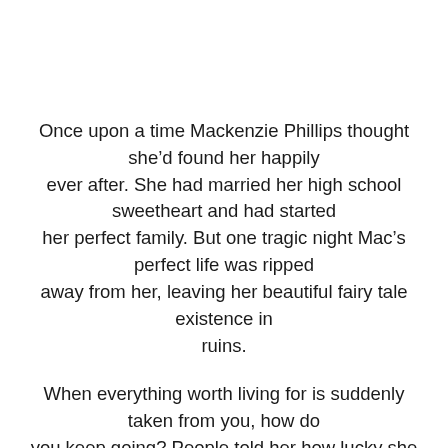Once upon a time Mackenzie Phillips thought she’d found her happily ever after. She had married her high school sweetheart and had started her perfect family. But one tragic night Mac’s perfect life was ripped away from her, leaving her beautiful fairy tale existence in ruins.
When everything worth living for is suddenly taken from you, how do you keep going? People told her how lucky she was just to be alive after that night, but she didn’t agree.
Years passed with Mac living in a fog, until another unfortunate turn